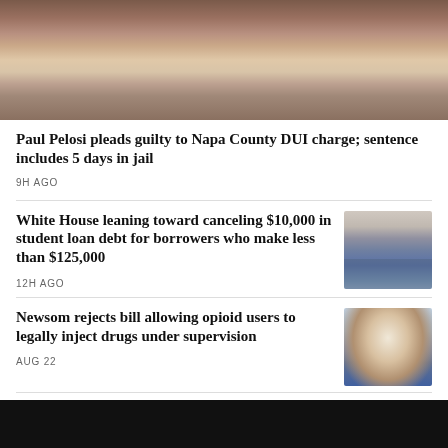[Figure (photo): Close-up photo of Paul Pelosi, a man in a brown jacket and white collared shirt]
Paul Pelosi pleads guilty to Napa County DUI charge; sentence includes 5 days in jail
9H AGO
White House leaning toward canceling $10,000 in student loan debt for borrowers who make less than $125,000
[Figure (photo): Protesters holding signs about canceling student loan debt, standing in front of a government building]
12H AGO
Newsom rejects bill allowing opioid users to legally inject drugs under supervision
[Figure (photo): Gavin Newsom speaking at a podium outdoors]
AUG 22
Bill heading to Gov. Newsom's desk will